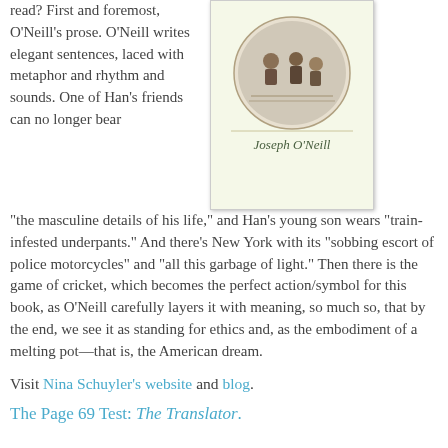read? First and foremost, O'Neill's prose. O'Neill writes elegant sentences, laced with metaphor and rhythm and sounds. One of Han's friends can no longer bear “the masculine details of his life,” and Han’s young son wears “train-infested underpants.” And there’s New York with its “sobbing escort of police motorcycles” and “all this garbage of light.” Then there is the game of cricket, which becomes the perfect action/symbol for this book, as O’Neill carefully layers it with meaning, so much so, that by the end, we see it as standing for ethics and, as the embodiment of a melting pot—that is, the American dream.
[Figure (illustration): Book cover of a novel by Joseph O'Neill, with a circular illustration at the top and the author's name 'Joseph O'Neill' in italic script on a light yellow-green background.]
Visit Nina Schuyler's website and blog.
The Page 69 Test: The Translator.